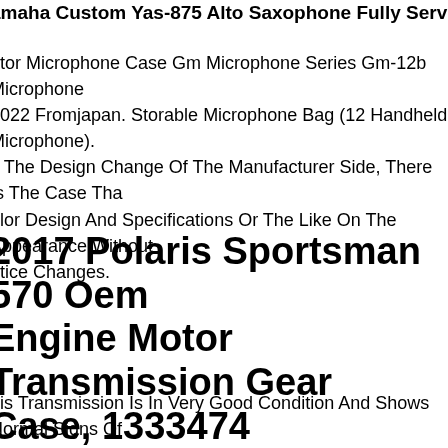Yamaha Custom Yas-875 Alto Saxophone Fully Serviced Excellent Player.
ator Microphone Case Gm Microphone Series Gm-12b Microphone 5022 Fromjapan. Storable Microphone Bag (12 Handheld Microphone). y The Design Change Of The Manufacturer Side, There Is The Case Tha olor Design And Specifications Or The Like On The Appearance Without otice Changes.
2017 Polaris Sportsman 570 Oem Engine Motor Transmission Gear Case, 1333474
his Transmission Is In Very Good Condition And Shows Normal Signs Of ear. Removed From A 2017 Polaris Sportsman 570 Sage Green (vin # xasea572ha085717). 18149 B13 B09. Removed From 2017 Polaris portsman 570 -- With 57.1 Hours 288 Miles.
Ovation 1567 Legend Custom Blue